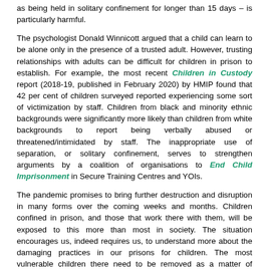as being held in solitary confinement for longer than 15 days – is particularly harmful.
The psychologist Donald Winnicott argued that a child can learn to be alone only in the presence of a trusted adult. However, trusting relationships with adults can be difficult for children in prison to establish. For example, the most recent Children in Custody report (2018-19, published in February 2020) by HMIP found that 42 per cent of children surveyed reported experiencing some sort of victimization by staff. Children from black and minority ethnic backgrounds were significantly more likely than children from white backgrounds to report being verbally abused or threatened/intimidated by staff. The inappropriate use of separation, or solitary confinement, serves to strengthen arguments by a coalition of organisations to End Child Imprisonment in Secure Training Centres and YOIs.
The pandemic promises to bring further destruction and disruption in many forms over the coming weeks and months. Children confined in prison, and those that work there with them, will be exposed to this more than most in society. The situation encourages us, indeed requires us, to understand more about the damaging practices in our prisons for children. The most vulnerable children there need to be removed as a matter of priority.